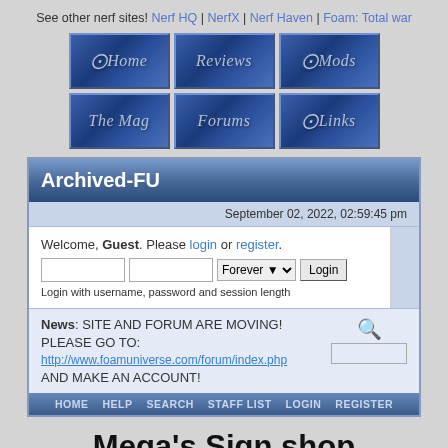See other nerf sites! Nerf HQ | NerfX | Nerf Haven | Foam: Total war
[Figure (screenshot): Navigation button grid with 6 blue gradient buttons: Home, Reviews, Mods, The Mag, Forums, Links]
Archived-FU
September 02, 2022, 02:59:45 pm
Welcome, Guest. Please login or register.
Login with username, password and session length
News: SITE AND FORUM ARE MOVING!
PLEASE GO TO:
http://www.foamuniverse.com/forum/index.php
AND MAKE AN ACCOUNT!
HOME  HELP  SEARCH  STAFF LIST  LOGIN  REGISTER
Mega's Sign shop